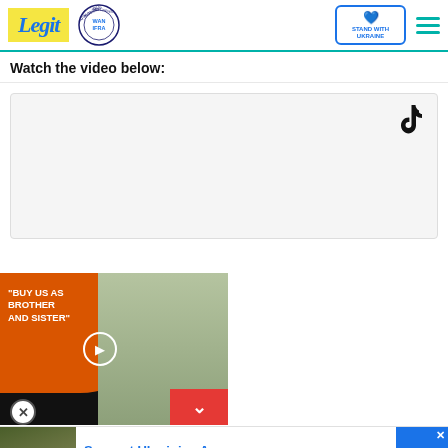Legit | WAN IFRA 2021 Best News Website in Africa | Stand With Ukraine
Watch the video below:
[Figure (screenshot): TikTok embedded video player area with TikTok logo icon in top right corner, light gray background]
[Figure (screenshot): Video popup thumbnail showing two people with orange graphic overlay and text 'BUY US AS BROTHER AND SISTER' with play button, red chevron/close button]
[Figure (screenshot): Ad banner for Support Ukrainian Army: Donate to defend Ukraine and democracy, with Ukrainian flag colors and close button]